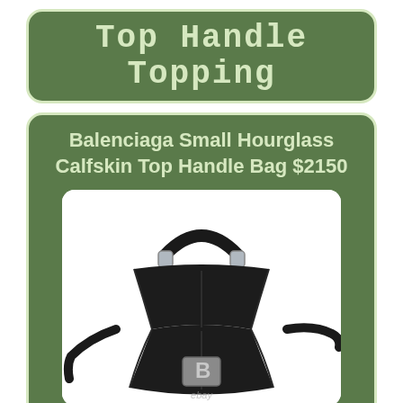Top Handle Topping
Balenciaga Small Hourglass Calfskin Top Handle Bag $2150
[Figure (photo): Black Balenciaga Small Hourglass Calfskin Top Handle Bag with silver hardware, hourglass silhouette, single top handle, crossbody strap, and large B logo clasp on front. eBay watermark visible.]